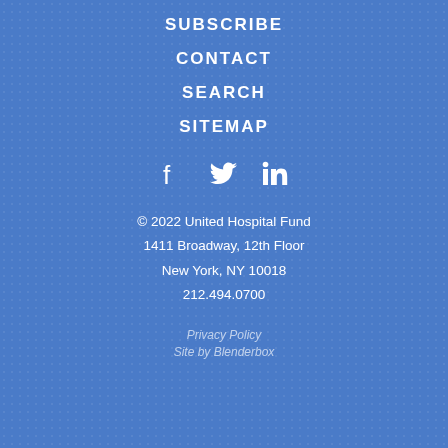SUBSCRIBE
CONTACT
SEARCH
SITEMAP
[Figure (other): Social media icons: Facebook, Twitter, LinkedIn]
© 2022 United Hospital Fund
1411 Broadway, 12th Floor
New York, NY 10018
212.494.0700
Privacy Policy
Site by Blenderbox